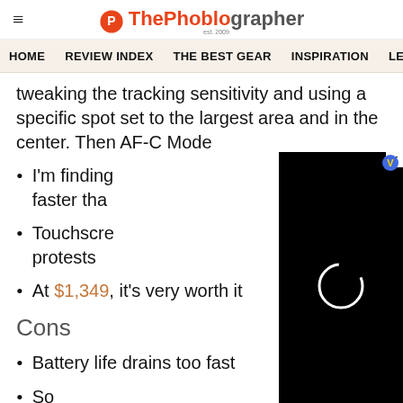ThePhoblographer (est. 2009)
HOME | REVIEW INDEX | THE BEST GEAR | INSPIRATION | LE...
tweaking the tracking sensitivity and using a specific spot set to the largest area and in the center. Then AF-C Mode
I'm finding [video overlay] faster tha[n]
Touchscre[en] [video overlay] protests
At $1,349, it's very worth it
Cons
Battery life drains too fast
So s[cut off]